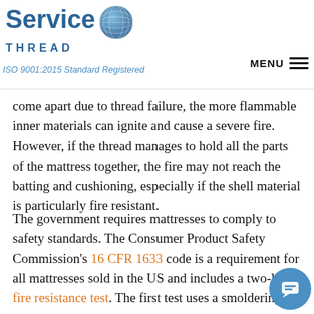Service THREAD | ISO 9001:2015 Standard Registered | MENU
come apart due to thread failure, the more flammable inner materials can ignite and cause a severe fire. However, if the thread manages to hold all the parts of the mattress together, the fire may not reach the batting and cushioning, especially if the shell material is particularly fire resistant.
The government requires mattresses to comply to safety standards. The Consumer Product Safety Commission's 16 CFR 1633 code is a requirement for all mattresses sold in the US and includes a two-level fire resistance test. The first test uses a smoldering